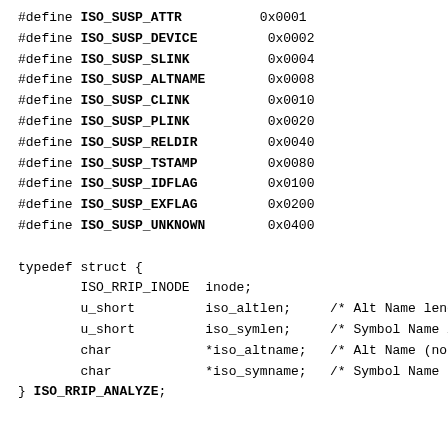#define ISO_SUSP_ATTR        0x0001
#define ISO_SUSP_DEVICE      0x0002
#define ISO_SUSP_SLINK       0x0004
#define ISO_SUSP_ALTNAME     0x0008
#define ISO_SUSP_CLINK       0x0010
#define ISO_SUSP_PLINK       0x0020
#define ISO_SUSP_RELDIR      0x0040
#define ISO_SUSP_TSTAMP      0x0080
#define ISO_SUSP_IDFLAG      0x0100
#define ISO_SUSP_EXFLAG      0x0200
#define ISO_SUSP_UNKNOWN     0x0400

typedef struct {
        ISO_RRIP_INODE  inode;
        u_short         iso_altlen;     /* Alt Name lengt
        u_short         iso_symlen;     /* Symbol Name le
        char            *iso_altname;   /* Alt Name (no N
        char            *iso_symname;   /* Symbol Name (n
} ISO_RRIP_ANALYZE;